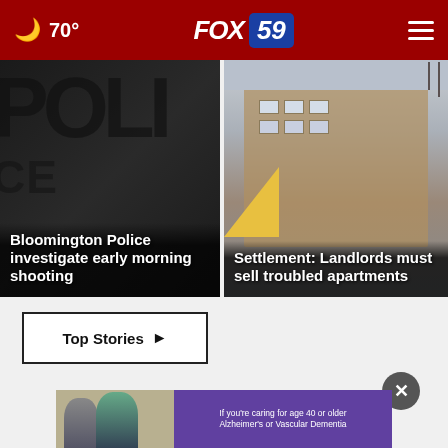🌙 70° FOX 59
[Figure (photo): Dark background with large POLI text (police sign), card for Bloomington Police story]
Bloomington Police investigate early morning shooting
[Figure (photo): Brick apartment building exterior in winter/overcast conditions with yellow accent]
Settlement: Landlords must sell troubled apartments
Top Stories ▶
[Figure (screenshot): Close button (X) circle and advertisement banner with two people and purple background text about Alzheimer's]